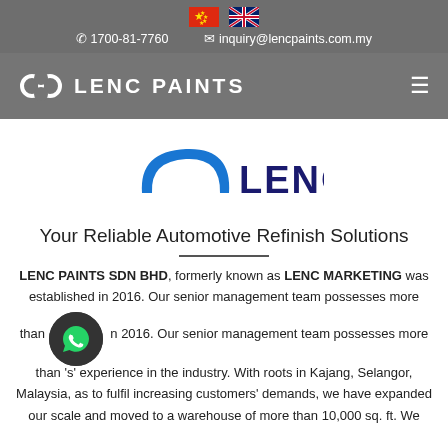🇨🇳 🇬🇧  📞 1700-81-7760  ✉ inquiry@lencpaints.com.my  LENC PAINTS
[Figure (logo): Lenc Paints logo with blue arc and LENC text in dark navy]
Your Reliable Automotive Refinish Solutions
LENC PAINTS SDN BHD, formerly known as LENC MARKETING was established in 2016. Our senior management team possesses more than 20 years' experience in the industry. With roots in Kajang, Selangor, Malaysia, as to fulfil increasing customers' demands, we have expanded our scale and moved to a warehouse of more than 10,000 sq. ft. We